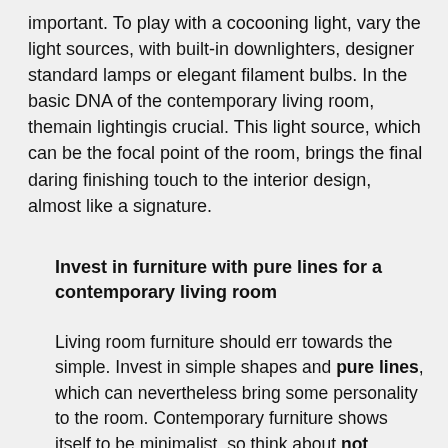important. To play with a cocooning light, vary the light sources, with built-in downlighters, designer standard lamps or elegant filament bulbs. In the basic DNA of the contemporary living room, themain lightingis crucial. This light source, which can be the focal point of the room, brings the final daring finishing touch to the interior design, almost like a signature.
Invest in furniture with pure lines for a contemporary living room
Living room furniture should err towards the simple. Invest in simple shapes and pure lines, which can nevertheless bring some personality to the room. Contemporary furniture shows itself to be minimalist, so think about not making the room look cluttered.